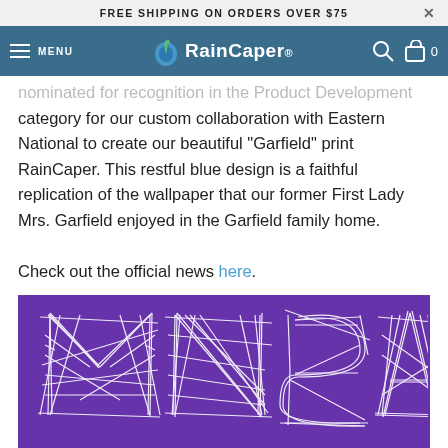FREE SHIPPING ON ORDERS OVER $75
[Figure (logo): RainCaper logo with blue raindrop icon and brand name in white on teal/blue nav bar, with MENU hamburger icon, search icon, and cart icon showing 0]
nominated for recognition in the Product Development category for our custom collaboration with Eastern National to create our beautiful "Garfield" print RainCaper. This restful blue design is a faithful replication of the wallpaper that our former First Lady Mrs. Garfield enjoyed in the Garfield family home.

Check out the official news here.
[Figure (logo): Museum Store Association (MSA) logo on purple background - large letter MSA drawn in white cross-hatched/sketched style lines, with 'MUSEUM STORE ASSOCIATION' text at the bottom]